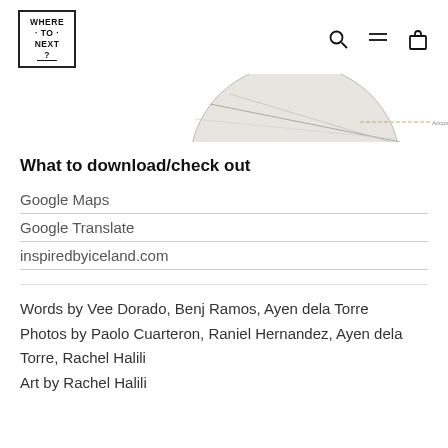WHERE TO NEXT ?
[Figure (illustration): Partial view of a circular map/globe illustration with 'Accommodations' label visible]
What to download/check out
Google Maps
Google Translate
inspiredbyiceland.com
Words by Vee Dorado, Benj Ramos, Ayen dela Torre
Photos by Paolo Cuarteron, Raniel Hernandez, Ayen dela Torre, Rachel Halili
Art by Rachel Halili